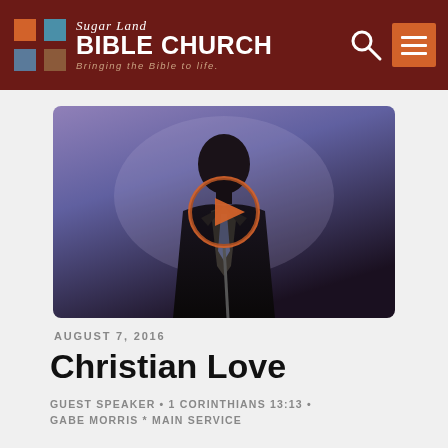Sugar Land BIBLE CHURCH — Bringing the Bible to life.
[Figure (photo): Video thumbnail showing a man in a dark suit and tie at a podium, looking down, with a purple/blue background. An orange play button circle is overlaid in the center.]
AUGUST 7, 2016
Christian Love
GUEST SPEAKER • 1 CORINTHIANS 13:13 • GABE MORRIS * MAIN SERVICE